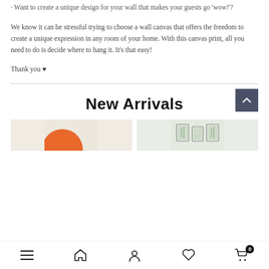· Want to create a unique design for your wall that makes your guests go ‘wow!’?
We know it can be stressful trying to choose a wall canvas that offers the freedom to create a unique expression in any room of your home. With this canvas print, all you need to do is decide where to hang it. It’s that easy!
Thank you ♥
New Arrivals
[Figure (photo): Two product images side by side — left shows an orange circle on beige canvas, right shows framed botanical prints on a light wall]
Navigation bar with icons: hamburger menu, home, person, heart, shopping cart (0 items)